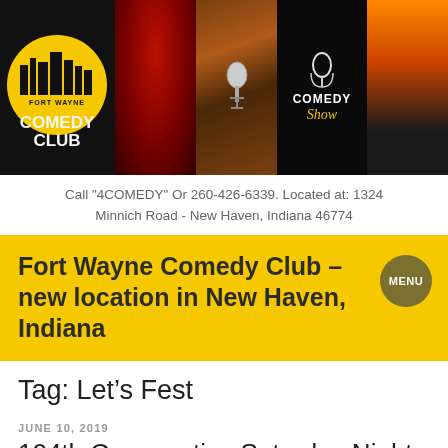[Figure (photo): Fort Wayne Comedy Club banner with logo on left showing city skyline, followed by four photos: red curtain, microphone on stage, comedy show neon sign, and people at a comedy show]
Call "4COMEDY" Or 260-426-6339. Located at: 1324 Minnich Road - New Haven, Indiana 46774
Fort Wayne Comedy Club – new location in New Haven, Indiana
Tag: Let's Fest
JUNE 10, 2019
104th Consecutive Saturday Night of